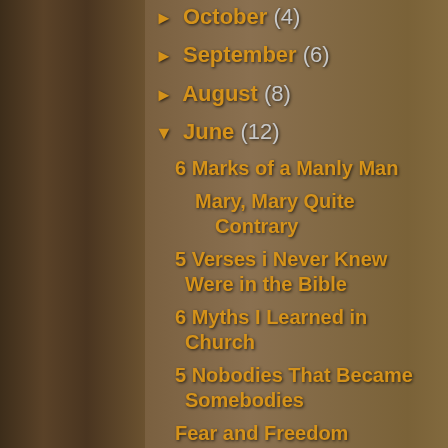*John 11:2 (Mary is A...
Posted by Unknown at
Labels: busyness, duty,
No com...
Post a C...
► October (4)
► September (6)
► August (8)
▼ June (12)
6 Marks of a Manly Man
Mary, Mary Quite Contrary
5 Verses i Never Knew Were in the Bible
6 Myths I Learned in Church
5 Nobodies That Became Somebodies
Fear and Freedom
Step 8
Peace, Dude